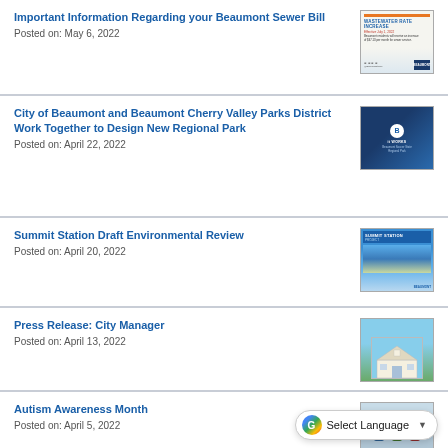Important Information Regarding your Beaumont Sewer Bill
Posted on: May 6, 2022
[Figure (screenshot): Wastewater Rate Increase flyer thumbnail]
City of Beaumont and Beaumont Cherry Valley Parks District Work Together to Design New Regional Park
Posted on: April 22, 2022
[Figure (screenshot): Parks district design thumbnail]
Summit Station Draft Environmental Review
Posted on: April 20, 2022
[Figure (screenshot): Summit Station Project thumbnail]
Press Release: City Manager
Posted on: April 13, 2022
[Figure (photo): City building photo thumbnail]
Autism Awareness Month
Posted on: April 5, 2022
[Figure (photo): Autism awareness month photo thumbnail (partially visible)]
Select Language